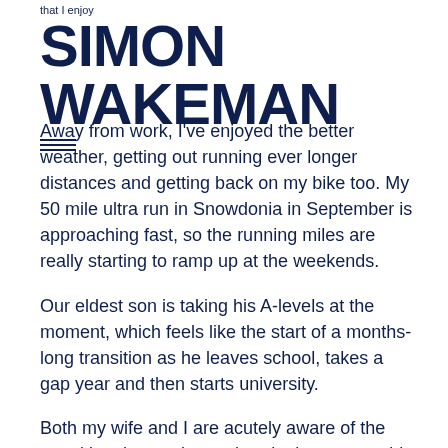that I enjoy
SIMON WAKEMAN
Away from work, I've enjoyed the better weather, getting out running ever longer distances and getting back on my bike too. My 50 mile ultra run in Snowdonia in September is approaching fast, so the running miles are really starting to ramp up at the weekends.
Our eldest son is taking his A-levels at the moment, which feels like the start of a months-long transition as he leaves school, takes a gap year and then starts university.
Both my wife and I are acutely aware of the transition that we have ahead – immense pride